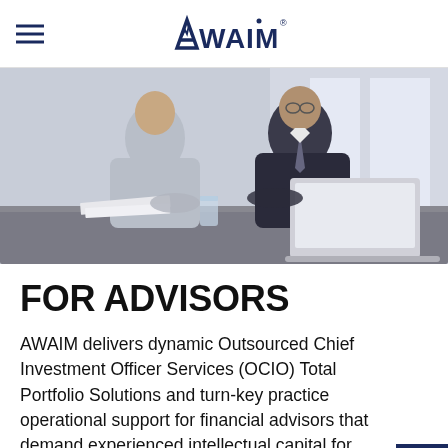AWAIM
[Figure (photo): Two business professionals (men in business attire) sitting at a conference table, one in a grey suit and one in a dark suit, reviewing documents together with a laptop open on the table.]
FOR ADVISORS
AWAIM delivers dynamic Outsourced Chief Investment Officer Services (OCIO) Total Portfolio Solutions and turn-key practice operational support for financial advisors that demand experienced intellectual capital for their clients, not undefined